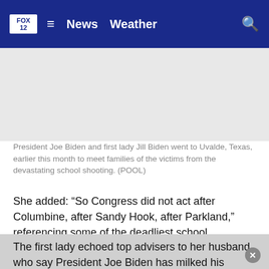FOX 12  ≡  News  Weather  🔍
[Figure (photo): Gray placeholder image area for a photo of President Joe Biden and first lady Jill Biden in Uvalde, Texas]
President Joe Biden and first lady Jill Biden went to Uvalde, Texas, earlier this month to meet families of the victims from the devastating school shooting. (POOL)
She added: “So Congress did not act after Columbine, after Sandy Hook, after Parkland,” referencing some of the deadliest school shootings in U.S. history. “Nothing changed, and nothing will change unless we change it.”
The first lady echoed top advisers to her husband, who say President Joe Biden has milked his executive authority to address gun violence and that next steps are up to Congress.